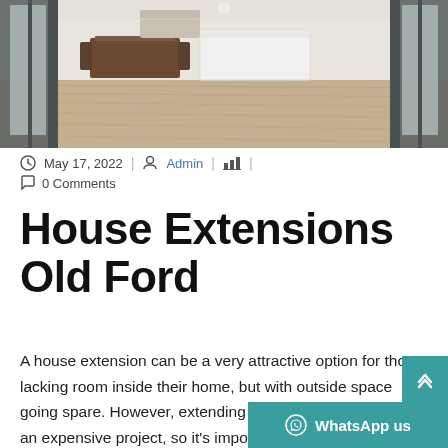[Figure (photo): Interior photo showing open bifold glass doors leading into a modern kitchen/dining room with wooden floors and white cabinetry]
May 17, 2022  |  Admin  |  [chart icon]  |  0 Comments
House Extensions Old Ford
A house extension can be a very attractive option for those lacking room inside their home, but with outside space going spare. However, extending your home is likely to be an expensive project, so it's impo... make it work hard for you.